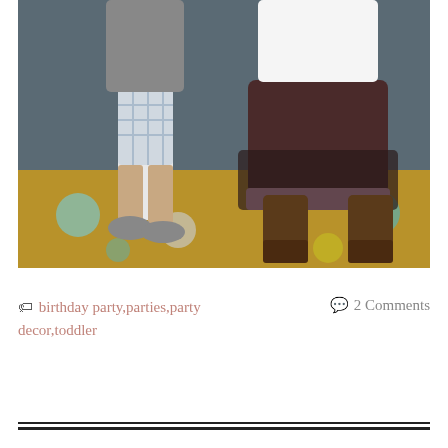[Figure (photo): Photo of two children's lower bodies standing on a polka-dot doormat. Left child wears plaid shorts and gray Crocs. Right child wears a dark brown layered tutu skirt with pink trim and brown cowboy boots. Background is a dark blue-gray wall.]
🏷 birthday party, parties, party decor, toddler   💬 2 Comments